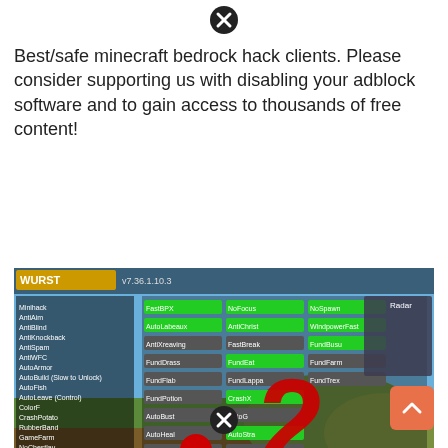Best/safe minecraft bedrock hack clients. Please consider supporting us with disabling your adblock software and to gain access to thousands of free content!
[Figure (screenshot): Screenshot of Minecraft game with a hack client (WURST) menu overlay showing green buttons with various cheat options, and a large red number 2 with a red dot overlaid on the game screen.]
Source: spekeranaktipass.blogspot.com
(5 days ago) · horion hacked client minecraft bedrock edition admin horion is a relatively fresh cheat client for minecraft bedrock edition the latest version of the game can be easily hacked. Minecraft bedrock